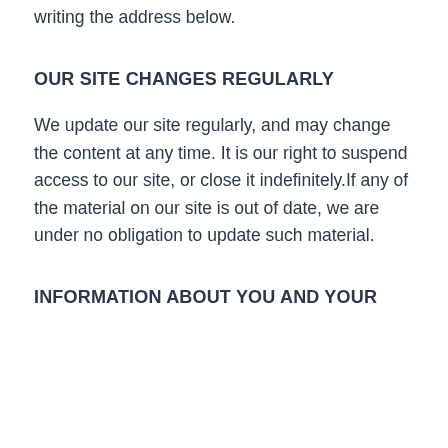writing the address below.
OUR SITE CHANGES REGULARLY
We update our site regularly, and may change the content at any time. It is our right to suspend access to our site, or close it indefinitely.If any of the material on our site is out of date, we are under no obligation to update such material.
INFORMATION ABOUT YOU AND YOUR